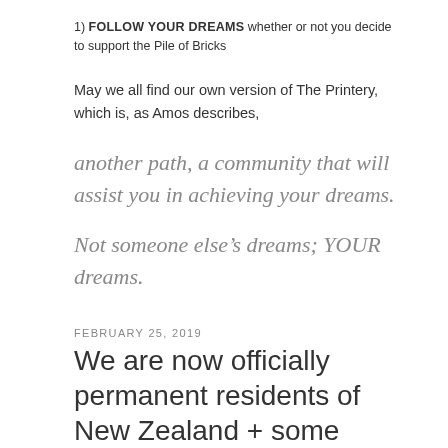1) FOLLOW YOUR DREAMS whether or not you decide to support the Pile of Bricks
May we all find our own version of The Printery, which is, as Amos describes,
another path, a community that will assist you in achieving your dreams.
Not someone else’s dreams; YOUR dreams.
FEBRUARY 25, 2019
We are now officially permanent residents of New Zealand + some thoughts on global mobility